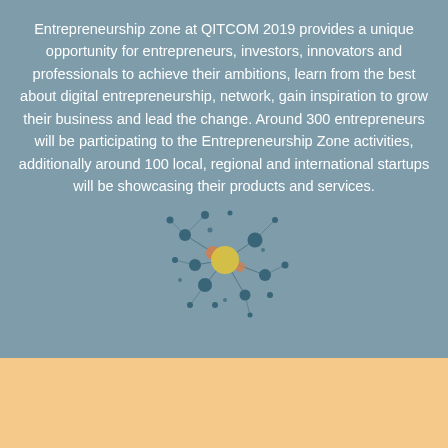Entrepreneurship zone at QITCOM 2019 provides a unique opportunity for entrepreneurs, investors, innovators and professionals to achieve their ambitions, learn from the best about digital entrepreneurship, network, gain inspiration to grow their business and lead the change. Around 300 entrepreneurs will be participating to the Entrepreneurship Zone activities, additionally around 100 local, regional and international startups will be showcasing their products and services.
[Figure (infographic): Network/bubble diagram with dark teal dots of various sizes connected by lines, with yellow and orange accent circles in the center]